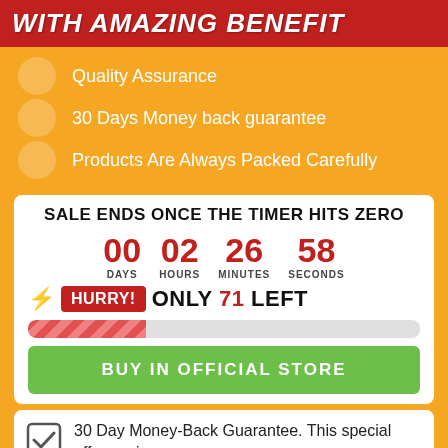WITH AMAZING BENEFIT
Quality Assurance
30 Days Money back guarantee
Products Are Always Packed Carefully
SALE ENDS ONCE THE TIMER HITS ZERO
00 DAYS  02 HOURS  26 MINUTES  58 SECONDS
⚡ HURRY! ONLY 71 LEFT
[Figure (infographic): Progress bar showing limited stock remaining, approximately 30% filled with red diagonal stripes]
BUY IN OFFICIAL STORE
30 Day Money-Back Guarantee. This special offer expires soon.